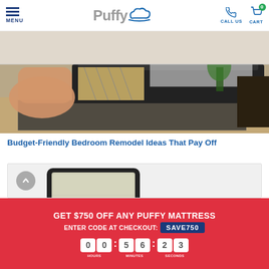MENU | Puffy | CALL US | CART 0
[Figure (photo): Hand pressing down on a mattress in a stylish bedroom setting]
Budget-Friendly Bedroom Remodel Ideas That Pay Off
[Figure (photo): A tablet/e-reader device shown against a light background]
GET $750 OFF ANY PUFFY MATTRESS
ENTER CODE AT CHECKOUT: SAVE750
00:56:23
HOURS  MINUTES  SECONDS